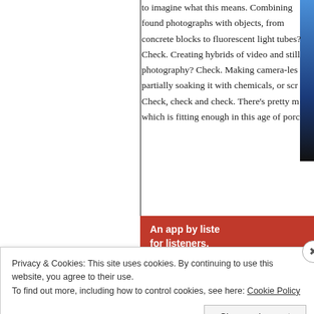to imagine what this means. Combining found photographs with objects, from concrete blocks to fluorescent light tubes? Check. Creating hybrids of video and still photography? Check. Making camera-less partially soaking it with chemicals, or scr Check, check and check. There's pretty m which is fitting enough in this age of porc
[Figure (photo): Partial blue/dark image strip on right edge and red advertisement banner reading 'An app by liste for listeners.']
[Figure (photo): Partial tan/beige image at bottom right of page]
Privacy & Cookies: This site uses cookies. By continuing to use this website, you agree to their use.
To find out more, including how to control cookies, see here: Cookie Policy
Close and accept